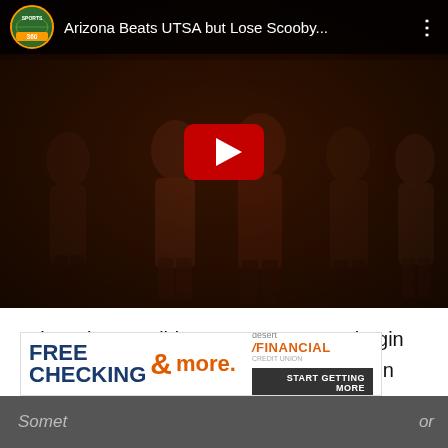[Figure (screenshot): YouTube video thumbnail showing Arizona Wildcats football players in uniform with the title 'Arizona Beats UTSA but Lose Scooby...' and a Sports360 channel logo, with a red play button in the center.]
The Arizona Wildcats move to 1-0 to begin the 2015 regular season with a 42-32 win over the the University of Texas-San Antonio Roadrunners on Thursday night. Here are five things we learned.
[Figure (screenshot): Advertisement banner for Desert Financial credit union: 'FREE CHECKING & more.' with a 'START GETTING MORE' button.]
Somet... or